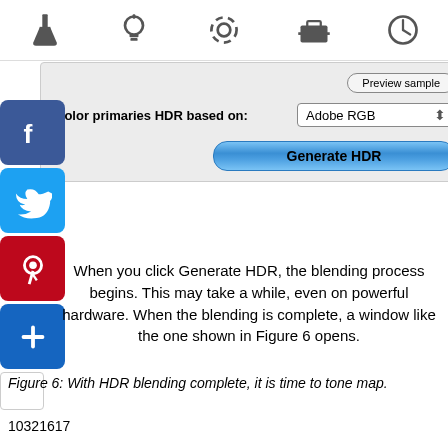[Figure (screenshot): macOS-style interface panel showing Preview sample button, Color primaries HDR based on Adobe RGB dropdown, and Generate HDR button. Top icon bar with flask, lightbulb, lifesaver, toolbox, and clock icons. Social media share buttons (Facebook, Twitter, Pinterest, Plus, white) on the left side.]
When you click Generate HDR, the blending process begins. This may take a while, even on powerful hardware. When the blending is complete, a window like the one shown in Figure 6 opens.
Figure 6: With HDR blending complete, it is time to tone map.
10321617